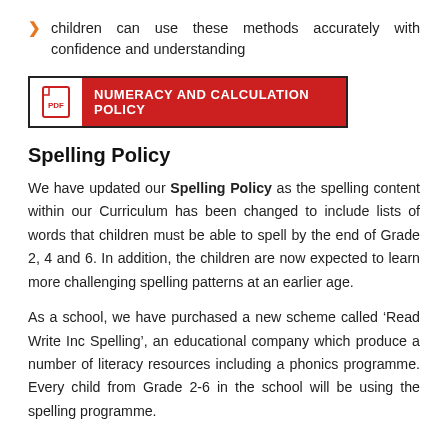children can use these methods accurately with confidence and understanding
[Figure (other): Numeracy and Calculation Policy document link button with PDF icon]
Spelling Policy
We have updated our Spelling Policy as the spelling content within our Curriculum has been changed to include lists of words that children must be able to spell by the end of Grade 2, 4 and 6. In addition, the children are now expected to learn more challenging spelling patterns at an earlier age.
As a school, we have purchased a new scheme called ‘Read Write Inc Spelling’, an educational company which produce a number of literacy resources including a phonics programme. Every child from Grade 2-6 in the school will be using the spelling programme.